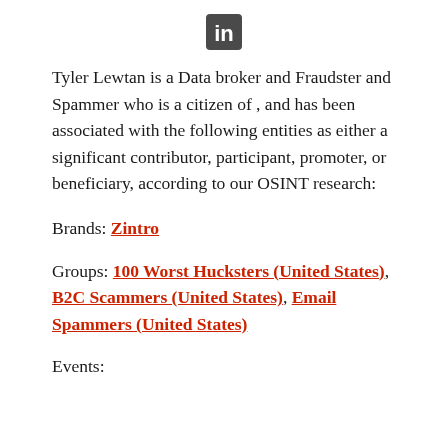[Figure (logo): LinkedIn logo icon — white 'in' on dark grey/black square background]
Tyler Lewtan is a Data broker and Fraudster and Spammer who is a citizen of , and has been associated with the following entities as either a significant contributor, participant, promoter, or beneficiary, according to our OSINT research:
Brands: Zintro
Groups: 100 Worst Hucksters (United States), B2C Scammers (United States), Email Spammers (United States)
Events: